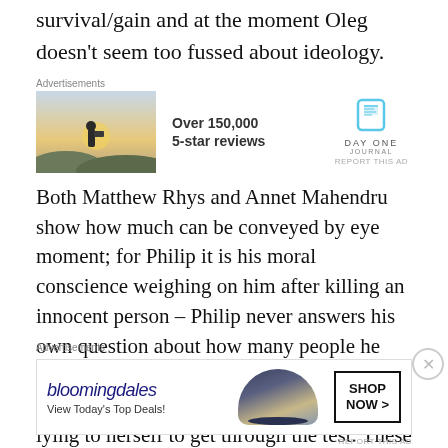survival/gain and at the moment Oleg doesn't seem too fussed about ideology.
[Figure (infographic): Advertisement banner: Day One Journal app ad with image of person photographing sunset, text 'Over 150,000 5-star reviews' and Day One Journal logo]
Both Matthew Rhys and Annet Mahendru show how much can be conveyed by eye moment; for Philip it is his moral conscience weighing on him after killing an innocent person – Philip never answers his own question about how many people he has killed but it's got to be a high number – with Nina it is all about confidence and lying to herself to get through the test. These are amazing
[Figure (infographic): Advertisement banner: Bloomingdale's ad with logo, text 'View Today's Top Deals!' and 'SHOP NOW >' button, image of woman in large hat]